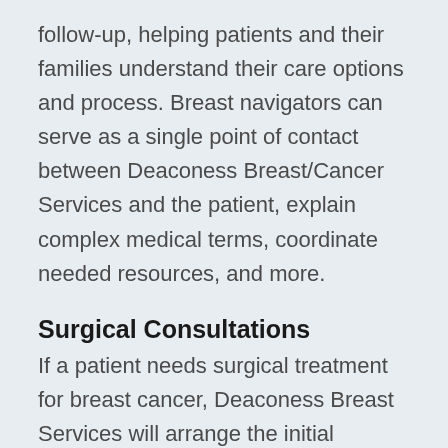follow-up, helping patients and their families understand their care options and process. Breast navigators can serve as a single point of contact between Deaconess Breast/Cancer Services and the patient, explain complex medical terms, coordinate needed resources, and more.
Surgical Consultations
If a patient needs surgical treatment for breast cancer, Deaconess Breast Services will arrange the initial consultation with a breast surgeon.